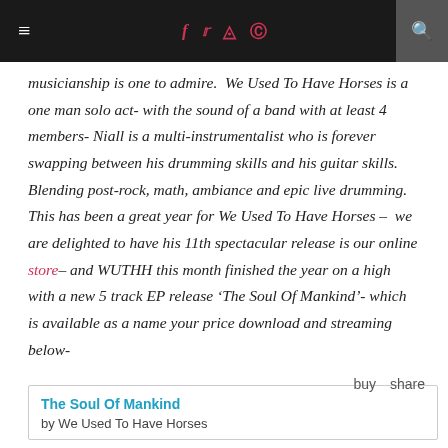≡  [social icons: f, twitter, instagram, pinterest]  [search]
musicianship is one to admire.  We Used To Have Horses is a one man solo act- with the sound of a band with at least 4 members- Niall is a multi-instrumentalist who is forever swapping between his drumming skills and his guitar skills. Blending post-rock, math, ambiance and epic live drumming. This has been a great year for We Used To Have Horses –  we are delighted to have his 11th spectacular release is our online store– and WUTHH this month finished the year on a high with a new 5 track EP release 'The Soul Of Mankind'- which is available as a name your price download and streaming below-
| The Soul Of Mankind | buy | share |
| --- | --- | --- |
| by We Used To Have Horses |  |  |